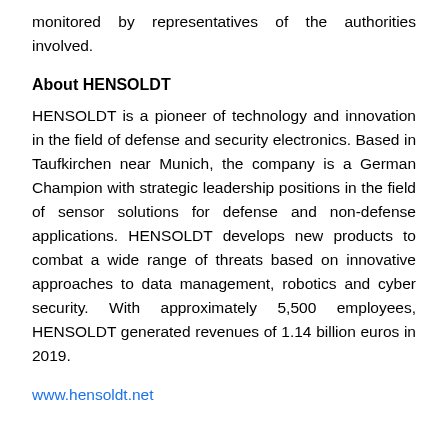monitored by representatives of the authorities involved.
About HENSOLDT
HENSOLDT is a pioneer of technology and innovation in the field of defense and security electronics. Based in Taufkirchen near Munich, the company is a German Champion with strategic leadership positions in the field of sensor solutions for defense and non-defense applications. HENSOLDT develops new products to combat a wide range of threats based on innovative approaches to data management, robotics and cyber security. With approximately 5,500 employees, HENSOLDT generated revenues of 1.14 billion euros in 2019.
www.hensoldt.net